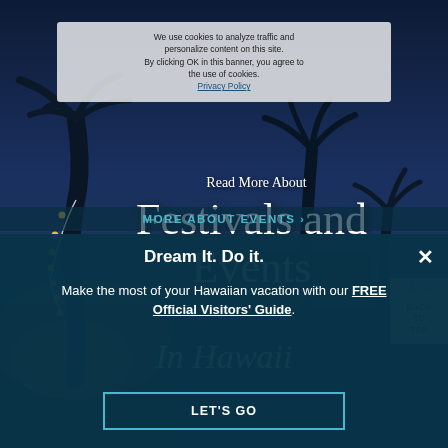[Figure (photo): Night scene with palm trees silhouetted against a deep blue twilight sky, with warm string lights on a tree at left. Tropical Hawaiian setting.]
We use cookies to analyze traffic and personalize content on this site. By clicking OK in this banner, you agree to the use of cookies.
Privacy Policy
Read More About
Festivals and Events
In Hawaii
BACK TO TOP
MORE ABOUT EVENTS ›
Dream It. Do it.
Make the most of your Hawaiian vacation with our FREE Official Visitors' Guide.
LET'S GO